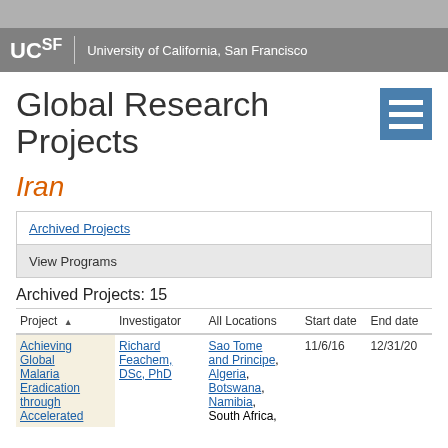UCSF University of California, San Francisco
Global Research Projects
Iran
Archived Projects
View Programs
Archived Projects: 15
| Project | Investigator | All Locations | Start date | End date |
| --- | --- | --- | --- | --- |
| Achieving Global Malaria Eradication through Accelerated | Richard Feachem, DSc, PhD | Sao Tome and Principe, Algeria, Botswana, Namibia, South Africa, | 11/6/16 | 12/31/20 |